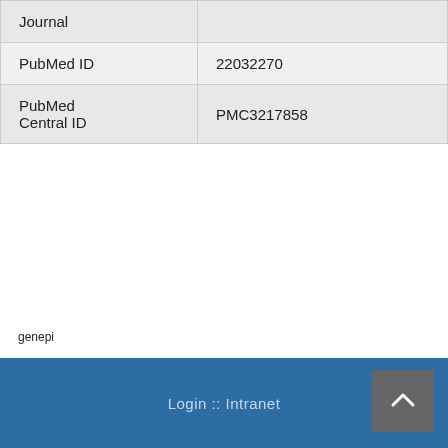| Journal |  |
| PubMed ID | 22032270 |
| PubMed Central ID | PMC3217858 |
genepi
PUBMED
DOI
Login :: Intranet